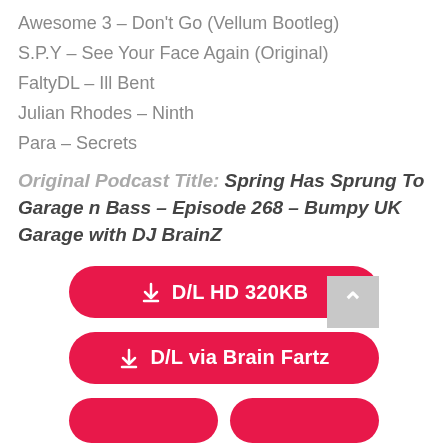Awesome 3 – Don't Go (Vellum Bootleg)
S.P.Y – See Your Face Again (Original)
FaltyDL – Ill Bent
Julian Rhodes – Ninth
Para – Secrets
Original Podcast Title: Spring Has Sprung To Garage n Bass – Episode 268 – Bumpy UK Garage with DJ BrainZ
[Figure (other): Red pill-shaped download button labeled 'D/L HD 320KB' with download icon]
[Figure (other): Red pill-shaped download button labeled 'D/L via Brain Fartz' with download icon]
[Figure (other): Partial red pill-shaped buttons at bottom, partially clipped; scroll-to-top grey button on right]